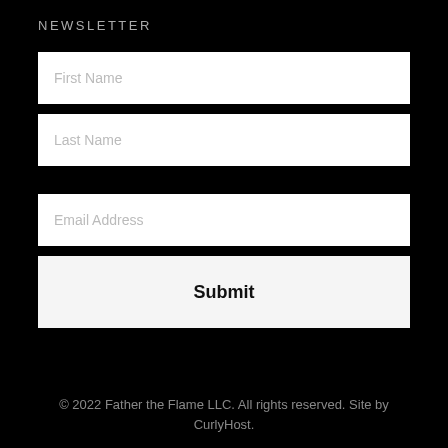NEWSLETTER
First Name
Last Name
Email Address
Submit
© 2022 Father the Flame LLC. All rights reserved. Site by CurlyHost.